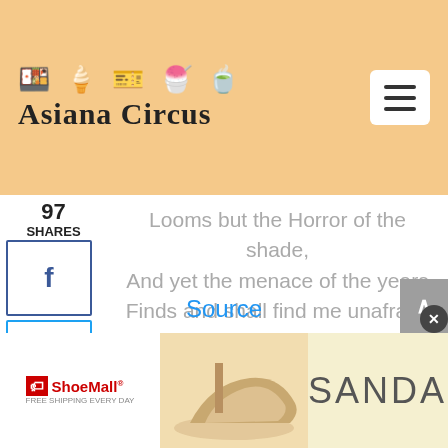[Figure (logo): Asiana Circus logo with icons (food, ticket, ice cream, etc.) and text 'Asiana Circus' on a peach/orange background]
97
SHARES
[Figure (infographic): Social share buttons: Facebook (f), Twitter (bird), Pinterest (P), Email (envelope)]
Looms but the Horror of the shade,
And yet the menace of the years
Finds and shall find me unafraid.

It matters not how strait the gate,
How charged with punishments the scroll,
I am the master of my fate,
I am the captain of my soul.
Source
[Figure (infographic): ShoeMall advertisement banner with sandals image and 'SHOP NOW' call to action]